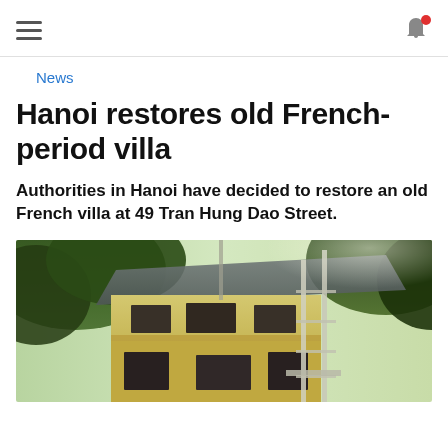[hamburger menu] [notification bell]
News
Hanoi restores old French-period villa
Authorities in Hanoi have decided to restore an old French villa at 49 Tran Hung Dao Street.
[Figure (photo): Photograph of an old French-period villa under restoration scaffolding, surrounded by trees, showing a yellow/cream colonial-style building with metal scaffolding erected beside it.]